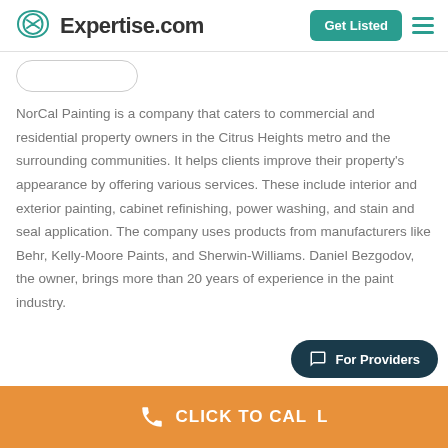Expertise.com | Get Listed
NorCal Painting is a company that caters to commercial and residential property owners in the Citrus Heights metro and the surrounding communities. It helps clients improve their property's appearance by offering various services. These include interior and exterior painting, cabinet refinishing, power washing, and stain and seal application. The company uses products from manufacturers like Behr, Kelly-Moore Paints, and Sherwin-Williams. Daniel Bezgodov, the owner, brings more than 20 years of experience in the paint industry.
CLICK TO CALL
For Providers